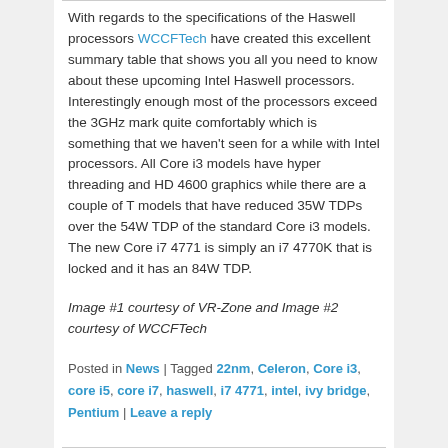With regards to the specifications of the Haswell processors WCCFTech have created this excellent summary table that shows you all you need to know about these upcoming Intel Haswell processors. Interestingly enough most of the processors exceed the 3GHz mark quite comfortably which is something that we haven't seen for a while with Intel processors. All Core i3 models have hyper threading and HD 4600 graphics while there are a couple of T models that have reduced 35W TDPs over the 54W TDP of the standard Core i3 models. The new Core i7 4771 is simply an i7 4770K that is locked and it has an 84W TDP.
Image #1 courtesy of VR-Zone and Image #2 courtesy of WCCFTech
Posted in News | Tagged 22nm, Celeron, Core i3, core i5, core i7, haswell, i7 4771, intel, ivy bridge, Pentium | Leave a reply